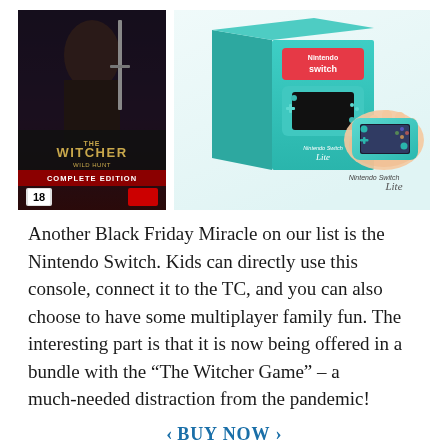[Figure (photo): Two product images side by side: left shows The Witcher 3 Wild Hunt Complete Edition game cover (age rating 18), right shows Nintendo Switch Lite in turquoise color with box packaging]
Another Black Friday Miracle on our list is the Nintendo Switch. Kids can directly use this console, connect it to the TC, and you can also choose to have some multiplayer family fun. The interesting part is that it is now being offered in a bundle with the “The Witcher Game” – a much-needed distraction from the pandemic!
< BUY NOW >